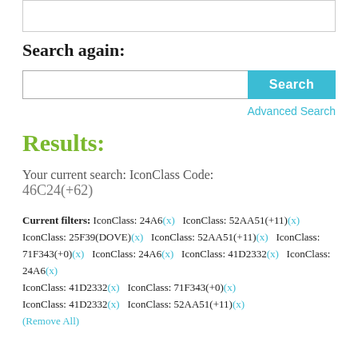Search again:
[Figure (screenshot): Search input box with Search button and Advanced Search link]
Results:
Your current search: IconClass Code:
46C24(+62)
Current filters: IconClass: 24A6(x) IconClass: 52AA51(+11)(x) IconClass: 25F39(DOVE)(x) IconClass: 52AA51(+11)(x) IconClass: 71F343(+0)(x) IconClass: 24A6(x) IconClass: 41D2332(x) IconClass: 24A6(x) IconClass: 41D2332(x) IconClass: 71F343(+0)(x) IconClass: 41D2332(x) IconClass: 52AA51(+11)(x) (Remove All)